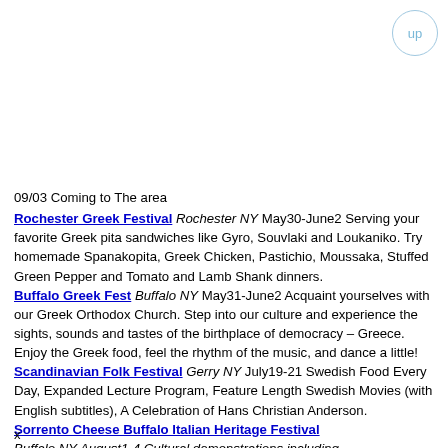up
09/03 Coming to The area
Rochester Greek Festival Rochester NY May30-June2 Serving your favorite Greek pita sandwiches like Gyro, Souvlaki and Loukaniko. Try homemade Spanakopita, Greek Chicken, Pastichio, Moussaka, Stuffed Green Pepper and Tomato and Lamb Shank dinners.
Buffalo Greek Fest Buffalo NY May31-June2 Acquaint yourselves with our Greek Orthodox Church. Step into our culture and experience the sights, sounds and tastes of the birthplace of democracy – Greece. Enjoy the Greek food, feel the rhythm of the music, and dance a little!
Scandinavian Folk Festival Gerry NY July19-21 Swedish Food Every Day, Expanded Lecture Program, Feature Length Swedish Movies (with English subtitles), A Celebration of Hans Christian Anderson.
Sorrento Cheese Buffalo Italian Heritage Festival Buffalo NY August1-4 Cultural demonstrations including...
x